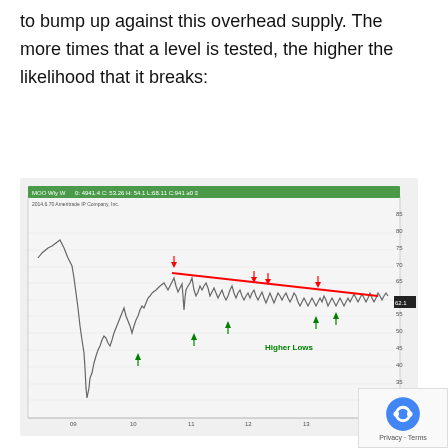to bump up against this overhead supply. The more times that a level is tested, the higher the likelihood that it breaks:
[Figure (continuous-plot): Stock price chart (MOO weekly) showing a descending resistance line in red with red arrows marking resistance touches at the top, and green arrows marking higher lows at the bottom, with 'Higher Lows' label. X-axis shows years 09 through 15, Y-axis shows price levels from approximately 25 to 85.]